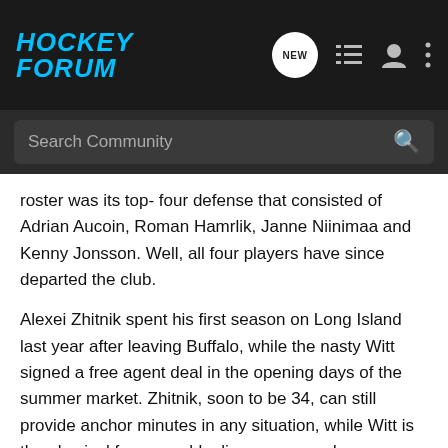[Figure (logo): Hockey Forum logo in cyan/blue italic bold text on dark background with navigation icons]
Search Community
roster was its top- four defense that consisted of Adrian Aucoin, Roman Hamrlik, Janne Niinimaa and Kenny Jonsson. Well, all four players have since departed the club.
Alexei Zhitnik spent his first season on Long Island last year after leaving Buffalo, while the nasty Witt signed a free agent deal in the opening days of the summer market. Zhitnik, soon to be 34, can still provide anchor minutes in any situation, while Witt is the physical force any blueline corps needs.
After that, however, things are a little more uncertain. Poti comes from the Rangers, where he was best known for drawing the yells of the MSG faithful for bonehead plays that led to turnovers. Radek Martinek is OK, but nothing special, while the bottom end of the roation has yet to be determined.